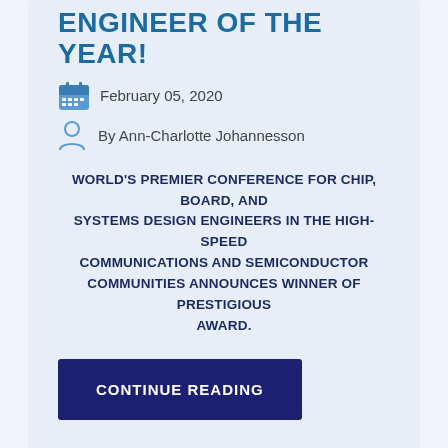ENGINEER OF THE YEAR!
February 05, 2020
By Ann-Charlotte Johannesson
WORLD'S PREMIER CONFERENCE FOR CHIP, BOARD, AND SYSTEMS DESIGN ENGINEERS IN THE HIGH-SPEED COMMUNICATIONS AND SEMICONDUCTOR COMMUNITIES ANNOUNCES WINNER OF PRESTIGIOUS AWARD.
CONTINUE READING
SHARE